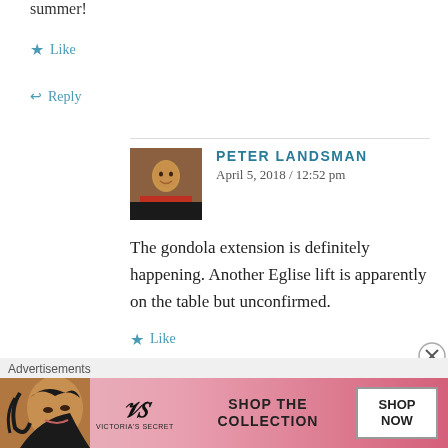summer!
★ Like
↩ Reply
PETER LANDSMAN
April 5, 2018 / 12:52 pm
The gondola extension is definitely happening. Another Eglise lift is apparently on the table but unconfirmed.
★ Like
↩ Reply
[Figure (screenshot): Advertisement banner for Victoria's Secret showing a woman's face on the left, the VS logo, text 'SHOP THE COLLECTION', and a 'SHOP NOW' button on a pink background.]